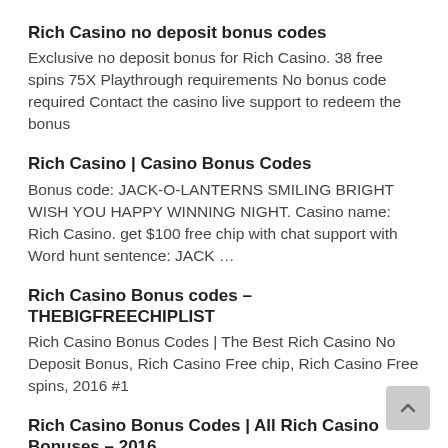Rich Casino no deposit bonus codes
Exclusive no deposit bonus for Rich Casino. 38 free spins 75X Playthrough requirements No bonus code required Contact the casino live support to redeem the bonus
Rich Casino | Casino Bonus Codes
Bonus code: JACK-O-LANTERNS SMILING BRIGHT WISH YOU HAPPY WINNING NIGHT. Casino name: Rich Casino. get $100 free chip with chat support with Word hunt sentence: JACK …
Rich Casino Bonus codes – THEBIGFREECHIPLIST
Rich Casino Bonus Codes | The Best Rich Casino No Deposit Bonus, Rich Casino Free chip, Rich Casino Free spins, 2016 #1
Rich Casino Bonus Codes | All Rich Casino Bonuses – 2016